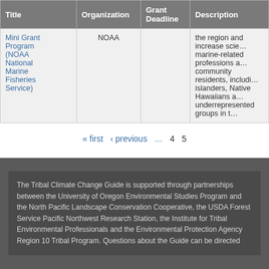| Title | Organization | Grant Deadline | Description |
| --- | --- | --- | --- |
| Mini Grant Program (NOAA National Marine Fisheries Service) | NOAA |  | the region and increase scie... marine-related professions a... community residents, includi... islanders, Native Hawaiians a... underrepresented groups in t... |
« first ‹ previous … 4 5
The Tribal Climate Change Guide is supported through partnerships between the University of Oregon Environmental Studies Program and the North Pacific Landscape Conservation Cooperative, the USDA Forest Service Pacific Northwest Research Station, the Institute for Tribal Environmental Professionals and the Environmental Protection Agency Region 10 Tribal Program. Questions about the Guide can be directed